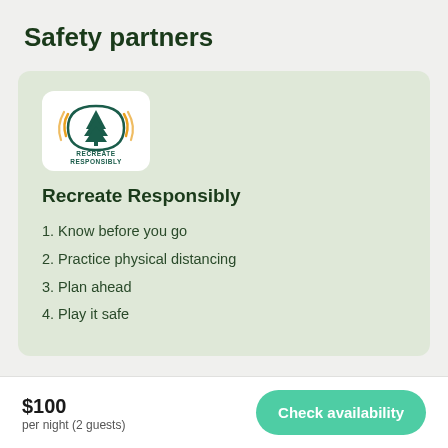Safety partners
[Figure (logo): Recreate Responsibly logo — arch with pine tree and sun rays in teal/green and gold, text 'RECREATE RESPONSIBLY' below]
Recreate Responsibly
1. Know before you go
2. Practice physical distancing
3. Plan ahead
4. Play it safe
$100
per night (2 guests)
Check availability